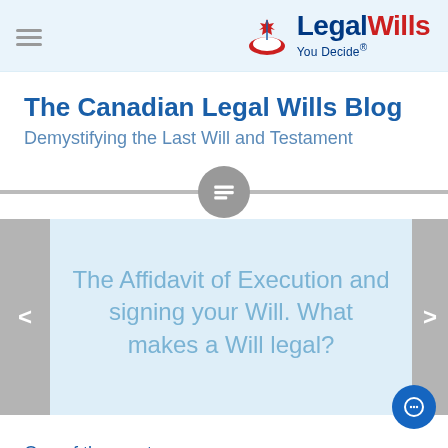LegalWills — You Decide® (logo/navigation header)
The Canadian Legal Wills Blog
Demystifying the Last Will and Testament
[Figure (screenshot): Carousel/slider navigation with a text-list icon in a grey circle, left/right arrow buttons on sides, and slide showing: The Affidavit of Execution and signing your Will. What makes a Will legal?]
One of the most...